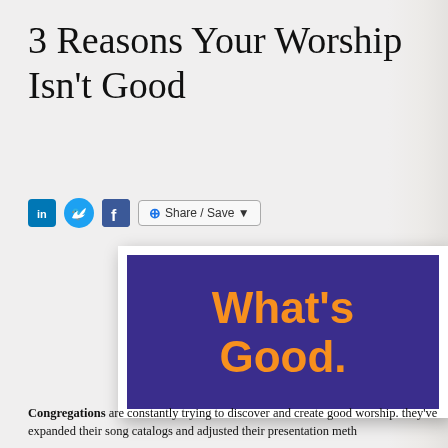3 Reasons Your Worship Isn't Good
[Figure (illustration): Social sharing bar with LinkedIn, Twitter, Facebook icons and a Share/Save button]
[Figure (illustration): Dark purple/indigo rectangle with bold orange text reading 'What's Good.' displayed on a white card with drop shadow]
Congregations are constantly trying to discover and create good worship. they've expanded their song catalogs and adjusted their presentation meth